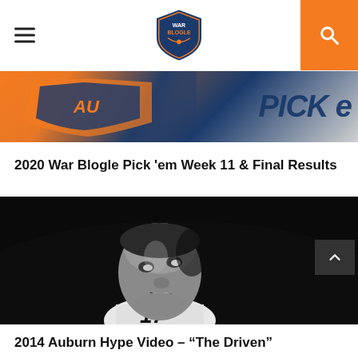War Blogle
[Figure (screenshot): Cropped banner image with orange and blue colors and text reading 'PICK E' partially visible]
2020 War Blogle Pick 'em Week 11 & Final Results
[Figure (photo): Black and white photo of an Auburn football player looking upward, wearing jersey number 17]
2014 Auburn Hype Video – "The Driven"